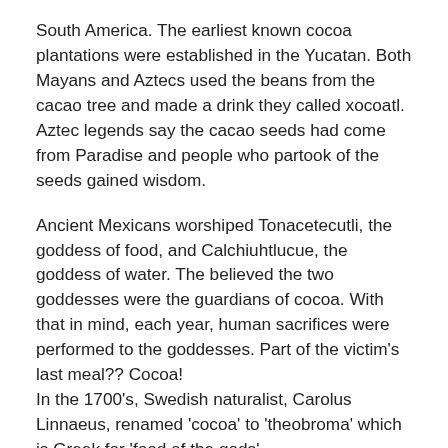South America. The earliest known cocoa plantations were established in the Yucatan. Both Mayans and Aztecs used the beans from the cacao tree and made a drink they called xocoatl. Aztec legends say the cacao seeds had come from Paradise and people who partook of the seeds gained wisdom.
Ancient Mexicans worshiped Tonacetecutli, the goddess of food, and Calchiuhtlucue, the goddess of water. The believed the two goddesses were the guardians of cocoa. With that in mind, each year, human sacrifices were performed to the goddesses. Part of the victim's last meal?? Cocoa!
In the 1700's, Swedish naturalist, Carolus Linnaeus, renamed 'cocoa' to 'theobroma' which is Greek for 'food of the gods'.
It is purported that cacao beans were brought back to the court of King Ferdinand by Christopher Columbus from his